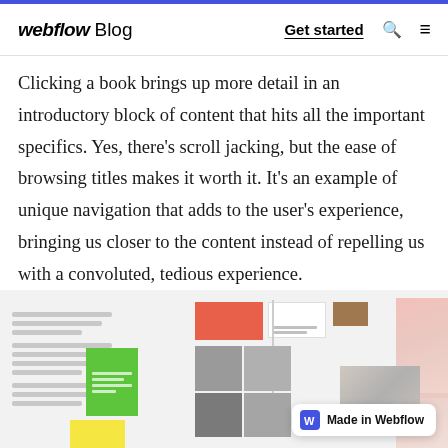webflow Blog — Get started
Clicking a book brings up more detail in an introductory block of content that hits all the important specifics. Yes, there's scroll jacking, but the ease of browsing titles makes it worth it. It's an example of unique navigation that adds to the user's experience, bringing us closer to the content instead of repelling us with a convoluted, tedious experience.
[Figure (screenshot): Screenshot of a website/app interface showing book or content browsing layout with colorful cards, photos in a grid, and text panels on a light gray background. Includes a 'Made in Webflow' badge in the bottom right.]